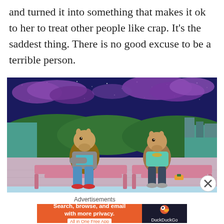and turned it into something that makes it ok to her to treat other people like crap. It's the saddest thing. There is no good excuse to be a terrible person.
[Figure (illustration): Animated scene from BoJack Horseman showing two horse-like characters sitting on pink lounge chairs on a rooftop under a starry night sky with purple clouds and green hills in the background.]
Advertisements
[Figure (screenshot): DuckDuckGo advertisement banner. Left orange section reads 'Search, browse, and email with more privacy. All in One Free App'. Right dark section shows DuckDuckGo duck logo and 'DuckDuckGo' text.]